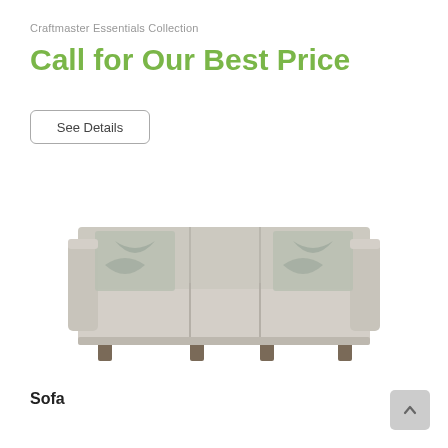Craftmaster Essentials Collection
Call for Our Best Price
See Details
[Figure (photo): A beige three-seat sofa with light grey patterned accent pillows on either end, square arms, three seat cushions, and small dark wood feet, photographed on a white background.]
Sofa